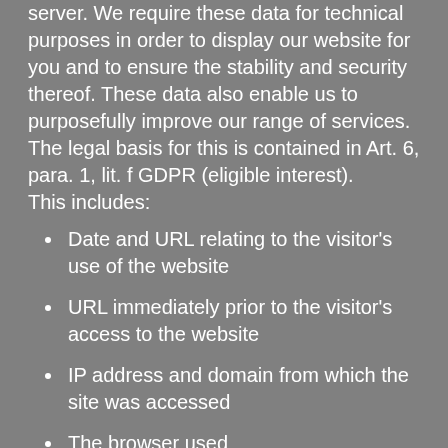server. We require these data for technical purposes in order to display our website for you and to ensure the stability and security thereof. These data also enable us to purposefully improve our range of services. The legal basis for this is contained in Art. 6, para. 1, lit. f GDPR (eligible interest). This includes:
Date and URL relating to the visitor's use of the website
URL immediately prior to the visitor's access to the website
IP address and domain from which the site was accessed
The browser used
The operating system used
Technical information about the visit (http method, http version, http status code, length of the data